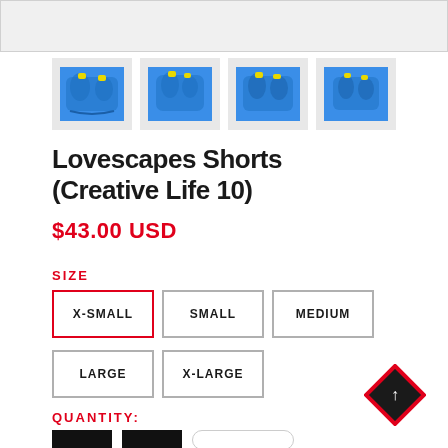[Figure (screenshot): Top portion of main product image (grey background, partially visible)]
[Figure (photo): Four thumbnail images of blue patterned swim shorts (Lovescapes Shorts Creative Life 10) shown side by side]
Lovescapes Shorts (Creative Life 10)
$43.00 USD
SIZE
X-SMALL (selected), SMALL, MEDIUM, LARGE, X-LARGE
QUANTITY: